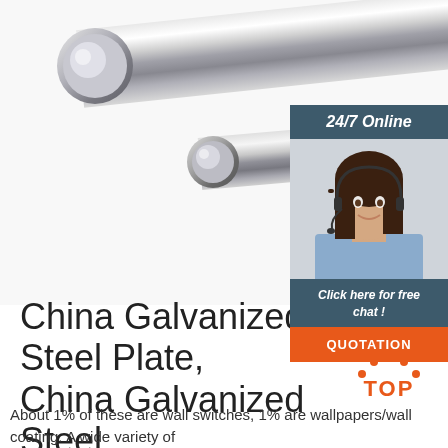[Figure (photo): Three shiny chrome/galvanized steel round bars/rods of different sizes arranged diagonally on white background]
[Figure (photo): Chat widget: dark blue/grey header with '24/7 Online' text, photo of smiling woman with headset, dark footer with 'Click here for free chat!' and orange QUOTATION button]
China Galvanized Steel Plate, China Galvanized Steel ...
[Figure (illustration): Orange TOP badge with dots forming a triangle above the text TOP]
About 1% of these are wall switches, 1% are wallpapers/wall coating. A wide variety of